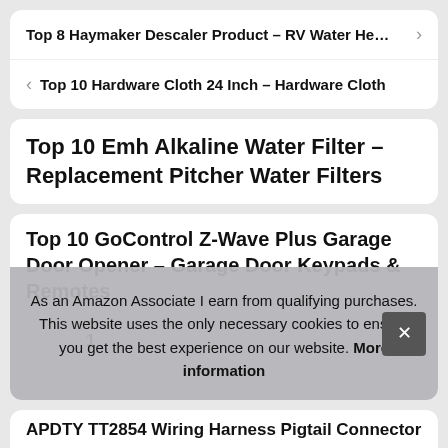Top 8 Haymaker Descaler Product – RV Water He…
Top 10 Hardware Cloth 24 Inch – Hardware Cloth
Top 10 Emh Alkaline Water Filter – Replacement Pitcher Water Filters
Top 10 GoControl Z-Wave Plus Garage Door Opener – Garage Door Keypads & Remotes
As an Amazon Associate I earn from qualifying purchases. This website uses the only necessary cookies to ensure you get the best experience on our website. More information
APDTY TT2854 Wiring Harness Pigtail Connector